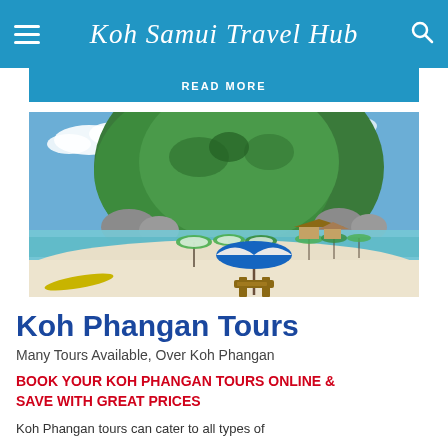Koh Samui Travel Hub
READ MORE
[Figure (photo): Tropical beach scene with a large green hill/mountain in the background, white sand beach with beach umbrellas (blue/white striped in foreground, green/white striped further back), clear turquoise water, and rocks. A wooden beach chair/lounger is visible under the main umbrella.]
Koh Phangan Tours
Many Tours Available, Over Koh Phangan
BOOK YOUR KOH PHANGAN TOURS ONLINE & SAVE WITH GREAT PRICES
Koh Phangan tours can cater to all types of